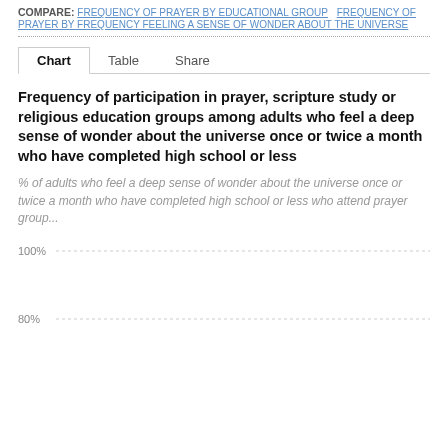COMPARE: FREQUENCY OF PRAYER BY EDUCATIONAL GROUP  FREQUENCY OF PRAYER BY FREQUENCY FEELING A SENSE OF WONDER ABOUT THE UNIVERSE
Chart  Table  Share
Frequency of participation in prayer, scripture study or religious education groups among adults who feel a deep sense of wonder about the universe once or twice a month who have completed high school or less
% of adults who feel a deep sense of wonder about the universe once or twice a month who have completed high school or less who attend prayer group...
[Figure (bar-chart): Bar chart partially visible, y-axis shows 100% and 80% gridlines]